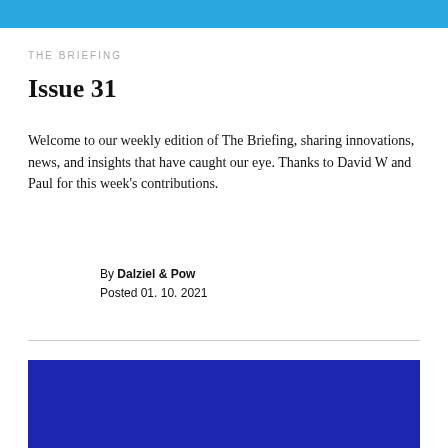THE BRIEFING
Issue 31
Welcome to our weekly edition of The Briefing, sharing innovations, news, and insights that have caught our eye. Thanks to David W and Paul for this week's contributions.
By Dalziel & Pow
Posted 01. 10. 2021
[Figure (other): Solid dark blue rectangular block at bottom of page]